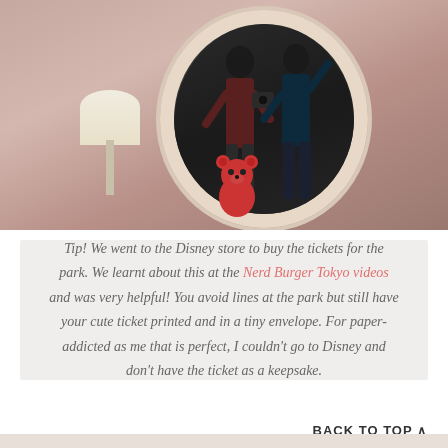[Figure (photo): Two people taking a mirror selfie in a pink-wallpapered room with a white lamp, oval ornate mirror, and a red toy bear figurine in the foreground.]
Tip! We went to the Disney store to buy the tickets for the park. We learnt about this at the Nerd Burger Tokyo videos and was very helpful! You avoid lines at the park but still have your cute ticket printed and in a tiny envelope. For paper-addicted as me that is perfect, I couldn't go to Disney and don't have the ticket as a keepsake.
BACK TO TOP ∧